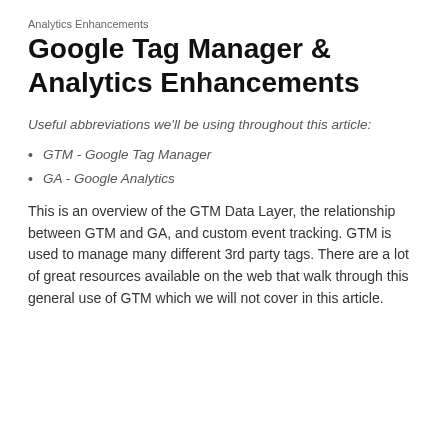Analytics Enhancements
Google Tag Manager & Analytics Enhancements
Useful abbreviations we'll be using throughout this article:
GTM - Google Tag Manager
GA - Google Analytics
This is an overview of the GTM Data Layer, the relationship between GTM and GA, and custom event tracking. GTM is used to manage many different 3rd party tags. There are a lot of great resources available on the web that walk through this general use of GTM which we will not cover in this article.